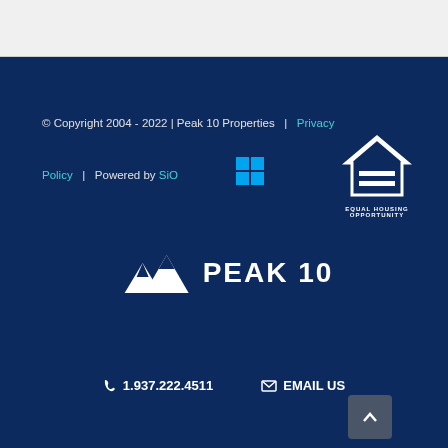© Copyright 2004 - 2022 | Peak 10 Properties  |   Privacy Policy  |  Powered by SiO
[Figure (logo): Windows logo icon (blue grid squares)]
[Figure (logo): Equal Housing Opportunity logo with house and equals sign, text: EQUAL HOUSING OPPORTUNITY]
[Figure (logo): Peak 10 Properties logo with mountain silhouette and PEAK 10 text]
1.937.222.4511
EMAIL US